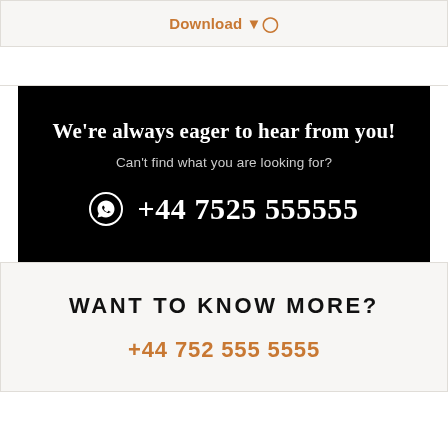Download ⊙
We're always eager to hear from you!
Can't find what you are looking for?
⊙ +44 7525 555555
WANT TO KNOW MORE?
+44 752 555 5555